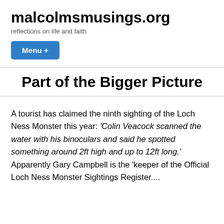malcolmsmusings.org
reflections on life and faith
Menu +
Part of the Bigger Picture
A tourist has claimed the ninth sighting of the Loch Ness Monster this year: 'Colin Veacock scanned the water with his binoculars and said he spotted something around 2ft high and up to 12ft long.' Apparently Gary Campbell is the 'keeper of the Official Loch Ness Monster Sightings Register....